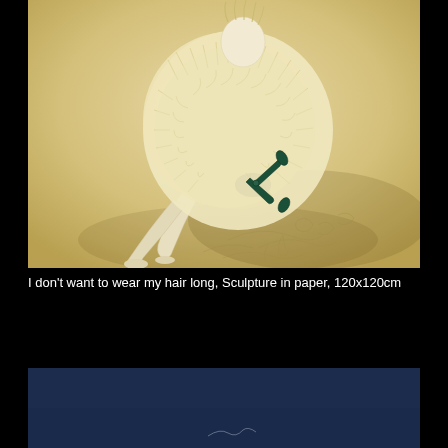[Figure (photo): A paper sculpture artwork showing a figure with long hair rendered in cream/off-white paper, seated with legs extended, holding scissors. The figure appears to be cutting hair. The background is a warm beige/cream tone. Textured paper elements form the hair and clothing.]
I don't want to wear my hair long, Sculpture in paper, 120x120cm
[Figure (photo): Partial view of another artwork with a dark navy/blue background, partially visible at the bottom of the page.]